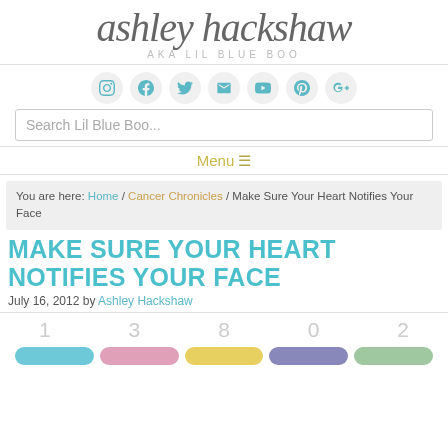ashley hackshaw AKA LIL BLUE BOO
[Figure (infographic): Social media icon buttons in teal/gray circles: Instagram, Facebook, Twitter, Email, YouTube, Pinterest, Google+]
Search Lil Blue Boo...
Menu ≡
You are here: Home / Cancer Chronicles / Make Sure Your Heart Notifies Your Face
MAKE SURE YOUR HEART NOTIFIES YOUR FACE
July 16, 2012 by Ashley Hackshaw
1  3  8  0  2